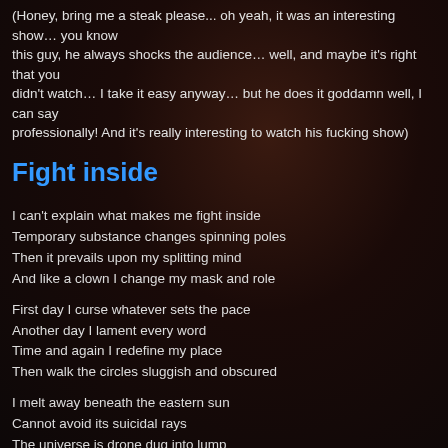(Honey, bring me a steak please... oh yeah, it was an interesting show… you know this guy, he always shocks the audience… well, and maybe it's right that you didn't watch… I take it easy anyway… but he does it goddamn well, I can say professionally! And it's really interesting to watch his fucking show)
Fight inside
I can't explain what makes me fight inside
Temporary substance changes spinning poles
Then it prevails upon my splitting mind
And like a clown I change my mask and role
First day I curse whatever sets the pace
Another day I lament every word
Time and again I redefine my place
Then walk the circles sluggish and obscured
I melt away beneath the eastern sun
Cannot avoid its suicidal rays
The universe is drone dug into lump